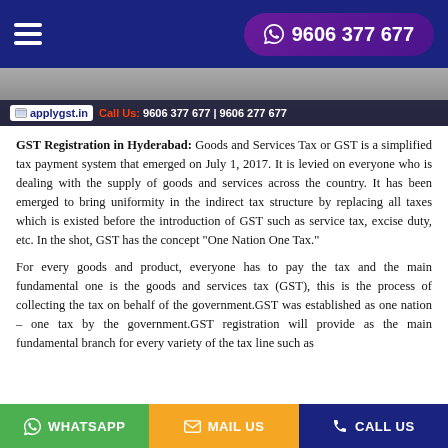9606 377 677
[Figure (screenshot): Banner image showing applygst.in website header with text: Call Us: 9606 377 677 | 9606 277 677]
GST Registration in Hyderabad: Goods and Services Tax or GST is a simplified tax payment system that emerged on July 1, 2017. It is levied on everyone who is dealing with the supply of goods and services across the country. It has been emerged to bring uniformity in the indirect tax structure by replacing all taxes which is existed before the introduction of GST such as service tax, excise duty, etc. In the shot, GST has the concept "One Nation One Tax."
For every goods and product, everyone has to pay the tax and the main fundamental one is the goods and services tax (GST), this is the process of collecting the tax on behalf of the government.GST was established as one nation – one tax by the government.GST registration will provide as the main fundamental branch for every variety of the tax line such as
WHATSAPP   MAIL US   CALL US